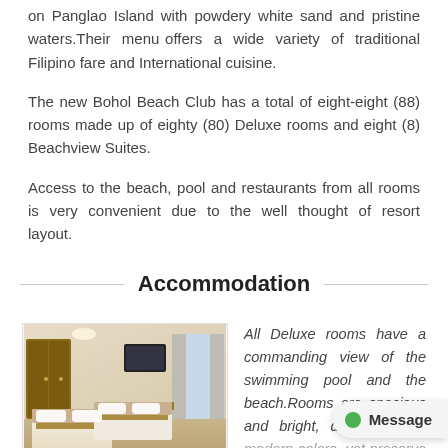on Panglao Island with powdery white sand and pristine waters. Their menu offers a wide variety of traditional Filipino fare and International cuisine.
The new Bohol Beach Club has a total of eight-eight (88) rooms made up of eighty (80) Deluxe rooms and eight (8) Beachview Suites.
Access to the beach, pool and restaurants from all rooms is very convenient due to the well thought of resort layout.
Accommodation
[Figure (photo): Photo of a hotel deluxe room with two beds with brown and gold accent bedding, wardrobe, TV, desk, and window with curtains.]
DELUXE ROOM
All Deluxe rooms have a commanding view of the swimming pool and the beach. Rooms are spacious and bright, designed with modern colors, yet preserve a